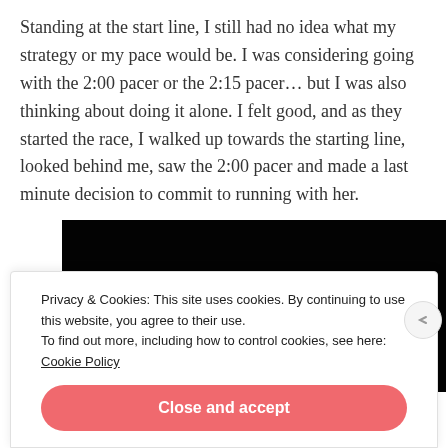Standing at the start line, I still had no idea what my strategy or my pace would be. I was considering going with the 2:00 pacer or the 2:15 pacer… but I was also thinking about doing it alone. I felt good, and as they started the race, I walked up towards the starting line, looked behind me, saw the 2:00 pacer and made a last minute decision to commit to running with her.
[Figure (photo): Dark photograph showing someone wearing a pink running cap, mostly in shadow against a black background]
Privacy & Cookies: This site uses cookies. By continuing to use this website, you agree to their use.
To find out more, including how to control cookies, see here: Cookie Policy
Close and accept